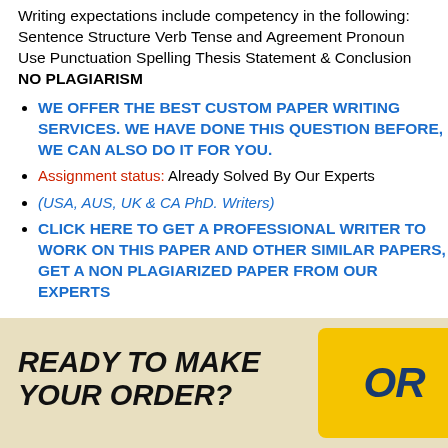Writing expectations include competency in the following: Sentence Structure Verb Tense and Agreement Pronoun Use Punctuation Spelling Thesis Statement & Conclusion NO PLAGIARISM
WE OFFER THE BEST CUSTOM PAPER WRITING SERVICES. WE HAVE DONE THIS QUESTION BEFORE, WE CAN ALSO DO IT FOR YOU.
Assignment status: Already Solved By Our Experts
(USA, AUS, UK & CA PhD. Writers)
CLICK HERE TO GET A PROFESSIONAL WRITER TO WORK ON THIS PAPER AND OTHER SIMILAR PAPERS, GET A NON PLAGIARIZED PAPER FROM OUR EXPERTS
[Figure (infographic): Banner image with cream/tan background showing 'READY TO MAKE YOUR ORDER?' text in bold italic black font and a yellow button/badge on the right showing 'OR' text in dark blue bold italic font]